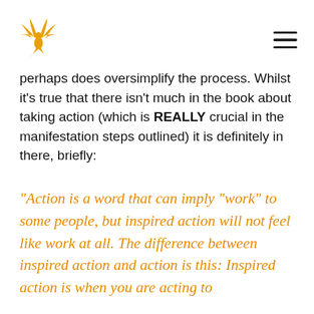[Phoenix logo] [Hamburger menu]
perhaps does oversimplify the process. Whilst it’s true that there isn’t much in the book about taking action (which is REALLY crucial in the manifestation steps outlined) it is definitely in there, briefly:
“Action is a word that can imply “work” to some people, but inspired action will not feel like work at all. The difference between inspired action and action is this: Inspired action is when you are acting to